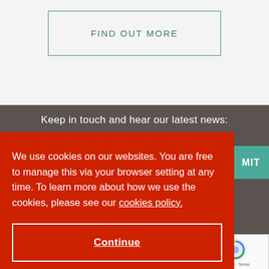[Figure (screenshot): A button labeled FIND OUT MORE with a teal/green border on a light gray background]
Keep in touch and hear our latest news:
SMIT
you. View
end you
We use cookies on our websites. You are free to manage this via your browser setting at any time. To learn more about how we use the cookies, please see our cookies policy.
Continue